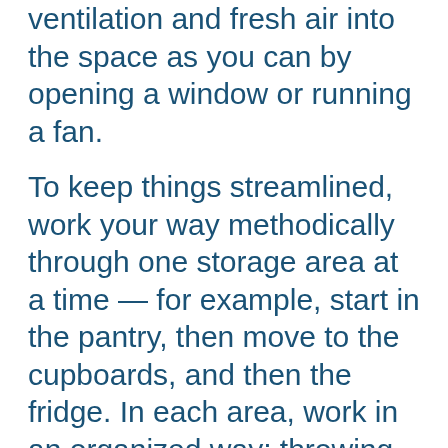ventilation and fresh air into the space as you can by opening a window or running a fan.
To keep things streamlined, work your way methodically through one storage area at a time — for example, start in the pantry, then move to the cupboards, and then the fridge. In each area, work in an organized way; throwing things away shelf-by-shelf or in batches. Avoid taste-tasting or smelling anything, as this may get you sick. Keep in mind that even if a food item hasn't expired, it may be contaminated by something that has gone bad.